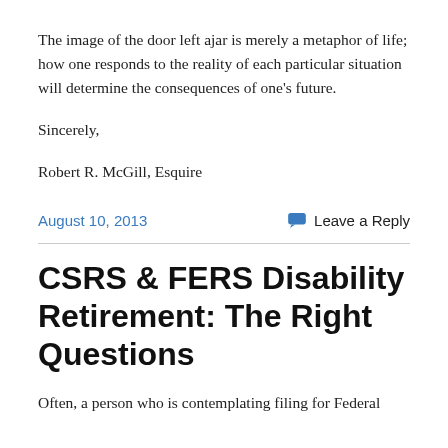The image of the door left ajar is merely a metaphor of life; how one responds to the reality of each particular situation will determine the consequences of one’s future.
Sincerely,
Robert R. McGill, Esquire
August 10, 2013    Leave a Reply
CSRS & FERS Disability Retirement: The Right Questions
Often, a person who is contemplating filing for Federal